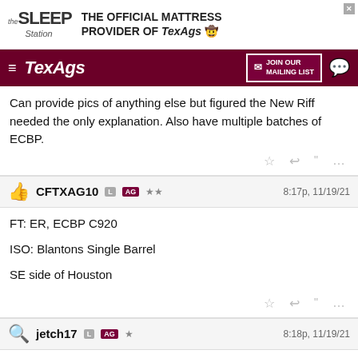[Figure (screenshot): The Sleep Station advertisement banner - official mattress provider of TexAgs]
[Figure (screenshot): TexAgs navigation bar with hamburger menu, TexAgs logo, Join Our Mailing List button, and chat icon]
Can provide pics of anything else but figured the New Riff needed the only explanation. Also have multiple batches of ECBP.
CFTXAG10  L  AG  **  8:17p, 11/19/21
FT: ER, ECBP C920

ISO: Blantons Single Barrel

SE side of Houston
jetch17  L  AG  *  8:18p, 11/19/21
How much for the ETL? Need another as I'm getting low
CharlieBrown17  L  AG  8:19p, 11/19/21